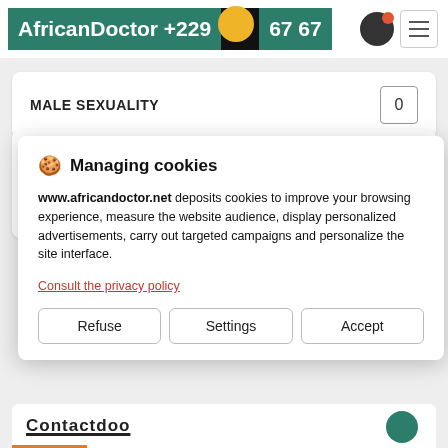AfricanDoctor +229 67 67
MALE SEXUALITY   0
Social media sharing
🍪 Managing cookies
www.africandoctor.net deposits cookies to improve your browsing experience, measure the website audience, display personalized advertisements, carry out targeted campaigns and personalize the site interface.
Consult the privacy policy
Refuse
Settings
Accept